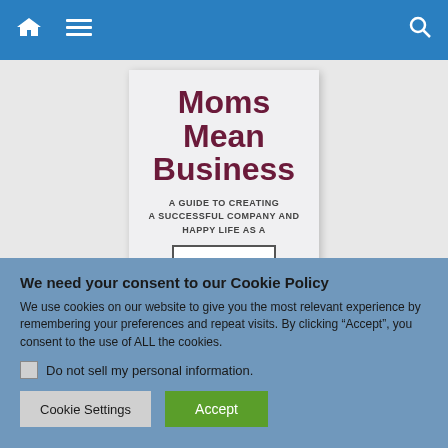Navigation bar with home, menu, and search icons
[Figure (illustration): Book cover of 'Moms Mean Business: A Guide to Creating a Successful Company and Happy Life as a Mom' with dark red title text on light background]
We need your consent to our Cookie Policy
We use cookies on our website to give you the most relevant experience by remembering your preferences and repeat visits. By clicking “Accept”, you consent to the use of ALL the cookies.
Do not sell my personal information.
Cookie Settings | Accept